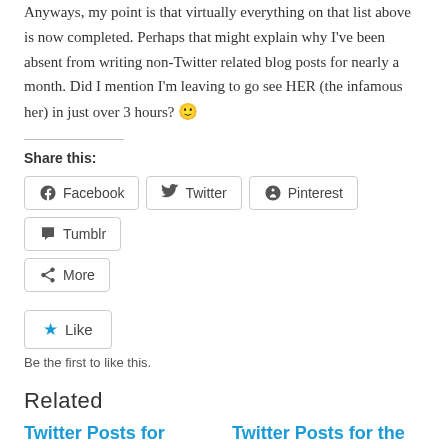Anyways, my point is that virtually everything on that list above is now completed. Perhaps that might explain why I've been absent from writing non-Twitter related blog posts for nearly a month. Did I mention I'm leaving to go see HER (the infamous her) in just over 3 hours? 🙂
Share this:
Facebook | Twitter | Pinterest | Tumblr | More
Like
Be the first to like this.
Related
Twitter Posts for 2008.04.19
Twitter Posts for the week of 2008.12.07